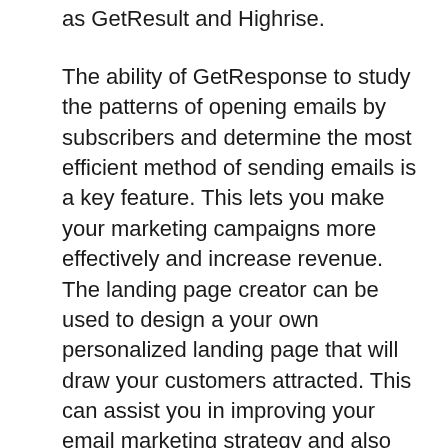as GetResult and Highrise.
The ability of GetResponse to study the patterns of opening emails by subscribers and determine the most efficient method of sending emails is a key feature. This lets you make your marketing campaigns more effectively and increase revenue. The landing page creator can be used to design a your own personalized landing page that will draw your customers attracted. This can assist you in improving your email marketing strategy and also save you money and time. If you’re looking for a solution that can make marketing automation more efficient and quicker, GetResponse may be a great choice for you.